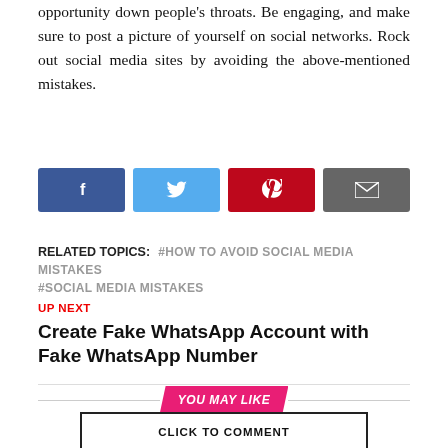opportunity down people's throats. Be engaging, and make sure to post a picture of yourself on social networks. Rock out social media sites by avoiding the above-mentioned mistakes.
[Figure (infographic): Social media sharing buttons: Facebook (dark blue), Twitter (light blue), Pinterest (dark red/crimson), Email (dark grey)]
RELATED TOPICS: #HOW TO AVOID SOCIAL MEDIA MISTAKES #SOCIAL MEDIA MISTAKES
UP NEXT
Create Fake WhatsApp Account with Fake WhatsApp Number
YOU MAY LIKE
CLICK TO COMMENT